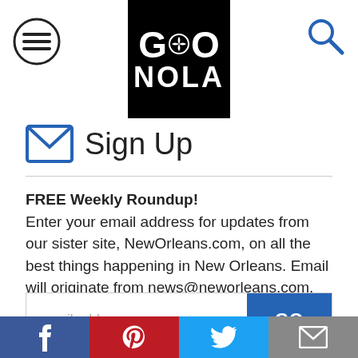GO NOLA
Sign Up
FREE Weekly Roundup! Enter your email address for updates from our sister site, NewOrleans.com, on all the best things happening in New Orleans. Email will originate from news@neworleans.com.
[Figure (screenshot): Email input field with GO button]
Social share bar: Facebook, Pinterest, Twitter, Email